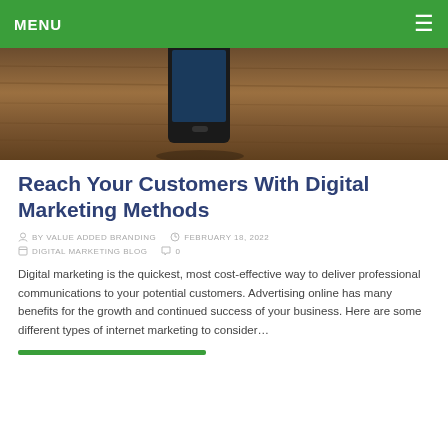MENU
[Figure (photo): A smartphone lying on a wooden table surface, seen from above at an angle, with a dark screen visible. Brown wood grain texture background.]
Reach Your Customers With Digital Marketing Methods
BY VALUE ADDED BRANDING   FEBRUARY 18, 2022
DIGITAL MARKETING BLOG   0
Digital marketing is the quickest, most cost-effective way to deliver professional communications to your potential customers. Advertising online has many benefits for the growth and continued success of your business. Here are some different types of internet marketing to consider…